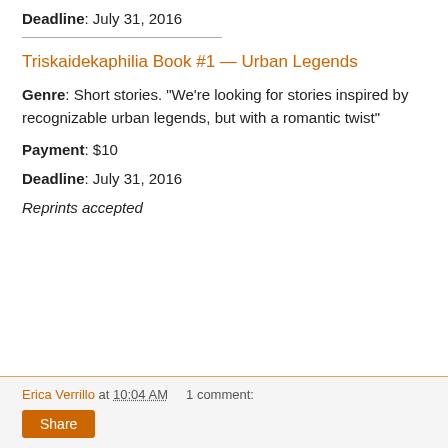Deadline: July 31, 2016
Triskaidekaphilia Book #1 — Urban Legends
Genre: Short stories. "We're looking for stories inspired by recognizable urban legends, but with a romantic twist"
Payment: $10
Deadline: July 31, 2016
Reprints accepted
Erica Verrillo at 10:04 AM   1 comment: